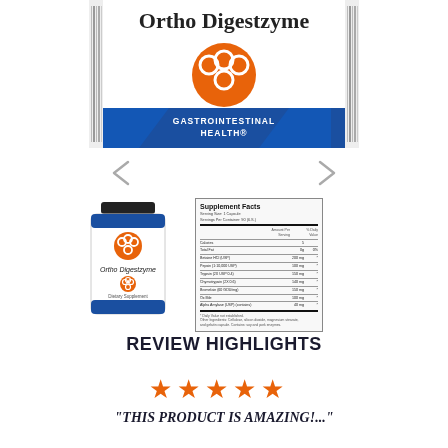[Figure (photo): Product packaging for Ortho Digestzyme showing the front of a supplement bottle/box with orange logo, blue panel reading GASTROINTESTINAL HEALTH, on white background]
[Figure (photo): Navigation arrows (left and right chevrons) for image gallery]
[Figure (photo): Small product bottle of Ortho Digestzyme next to a Supplement Facts panel showing serving size, ingredients including Betaine HCl, Pepsin, Trypsin, Chymotrypsin, Bromelain, Ox Bile, Alpha Amylase]
REVIEW HIGHLIGHTS
[Figure (other): Five orange star rating icons]
"THIS PRODUCT IS AMAZING!..."